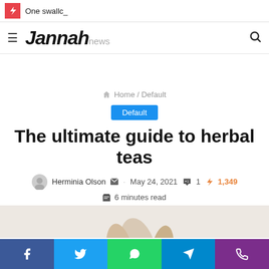One swallc_
Jannah news
Home / Default
Default
The ultimate guide to herbal teas
Herminia Olson · May 24, 2021 · 1 · 1,349
6 minutes read
[Figure (photo): Partial image visible at bottom of page showing a hand with a cup, light background]
Facebook · Twitter · WhatsApp · Telegram · Phone